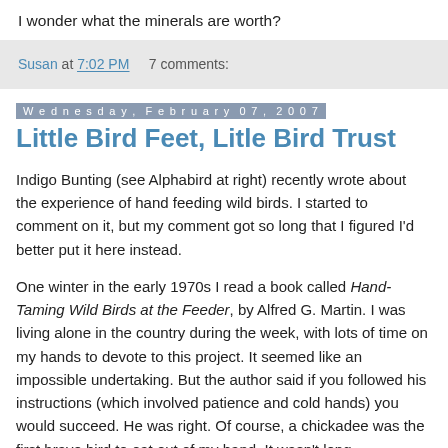I wonder what the minerals are worth?
Susan at 7:02 PM    7 comments:
Wednesday, February 07, 2007
Little Bird Feet, Litle Bird Trust
Indigo Bunting (see Alphabird at right) recently wrote about the experience of hand feeding wild birds. I started to comment on it, but my comment got so long that I figured I'd better put it here instead.
One winter in the early 1970s I read a book called Hand-Taming Wild Birds at the Feeder, by Alfred G. Martin. I was living alone in the country during the week, with lots of time on my hands to devote to this project. It seemed like an impossible undertaking. But the author said if you followed his instructions (which involved patience and cold hands) you would succeed. He was right. Of course, a chickadee was the first brave bird to eat out of my hand. It wasn't long